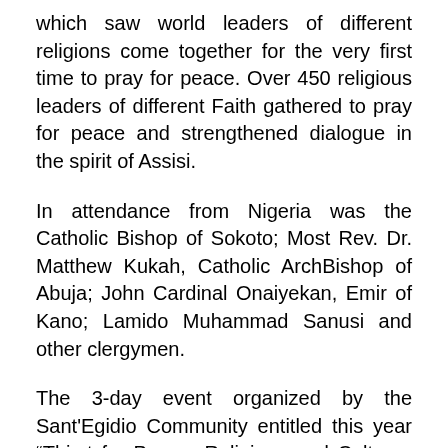which saw world leaders of different religions come together for the very first time to pray for peace. Over 450 religious leaders of different Faith gathered to pray for peace and strengthened dialogue in the spirit of Assisi.
In attendance from Nigeria was the Catholic Bishop of Sokoto; Most Rev. Dr. Matthew Kukah, Catholic ArchBishop of Abuja; John Cardinal Onaiyekan, Emir of Kano; Lamido Muhammad Sanusi and other clergymen.
The 3-day event organized by the Sant'Egidio Community entitled this year “Thirst for Peace. Religions and Cultures in Dialogue”.
From 4pm local time Prayers for Peace take place in different venues. The Ecumenical Prayer...